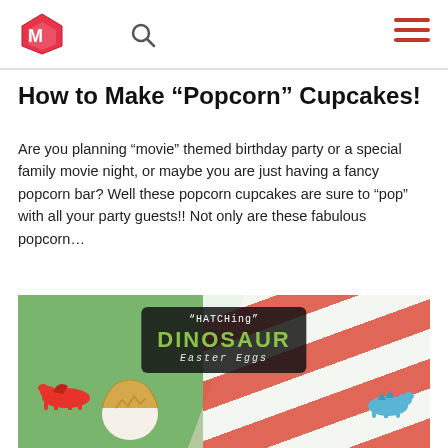[Logo] [Search icon] [Menu icon]
How to Make “Popcorn” Cupcakes!
Are you planning “movie” themed birthday party or a special family movie night, or maybe you are just having a fancy popcorn bar? Well these popcorn cupcakes are sure to “pop” with all your party guests!! Not only are these fabulous popcorn…
[Figure (photo): Promotional photo with hatching dinosaur Easter egg in foreground. Red and white striped background on the right, green foliage on the left. Overlay text reads: "HATCHING" DINOSAUR Easter Eggs with cartoon dinosaur graphics.]